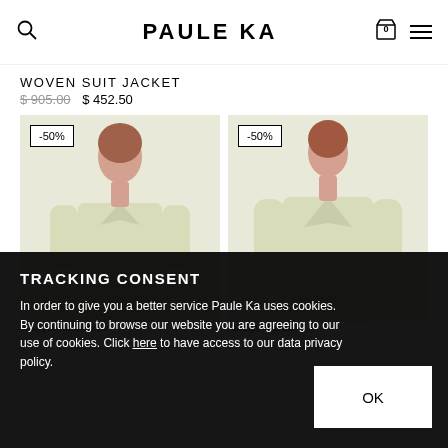PAULE KA
WOVEN SUIT JACKET
$ 905.00  $ 452.50
[Figure (photo): Model wearing a light yellow woven suit jacket, cropped view, with -50% discount badge]
[Figure (photo): Model wearing a light yellow woven suit jacket full view, with -50% discount badge]
TRACKING CONSENT
In order to give you a better service Paule Ka uses cookies. By continuing to browse our website you are agreeing to our use of cookies. Click here to have access to our data privacy policy.